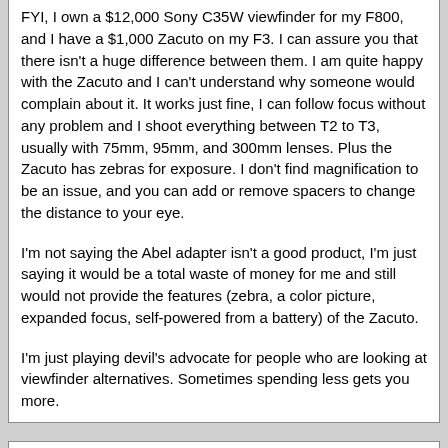FYI, I own a $12,000 Sony C35W viewfinder for my F800, and I have a $1,000 Zacuto on my F3. I can assure you that there isn't a huge difference between them. I am quite happy with the Zacuto and I can't understand why someone would complain about it. It works just fine, I can follow focus without any problem and I shoot everything between T2 to T3, usually with 75mm, 95mm, and 300mm lenses. Plus the Zacuto has zebras for exposure. I don't find magnification to be an issue, and you can add or remove spacers to change the distance to your eye.
I'm not saying the Abel adapter isn't a good product, I'm just saying it would be a total waste of money for me and still would not provide the features (zebra, a color picture, expanded focus, self-powered from a battery) of the Zacuto.
I'm just playing devil's advocate for people who are looking at viewfinder alternatives. Sometimes spending less gets you more.
Doug Jensen
December 16th, 2011 09:39 PM
Re: FW 1.3 Can't come too soon (need outputs)
Quote:
Originally Posted by Dennis Dillon (Post 1704124) Second was the config from the 15 Rail/Zacuto post/swivel set up. We all had issues when one would just shift ones self to let up on the pain. (The F3 as is was as heavy or heavier